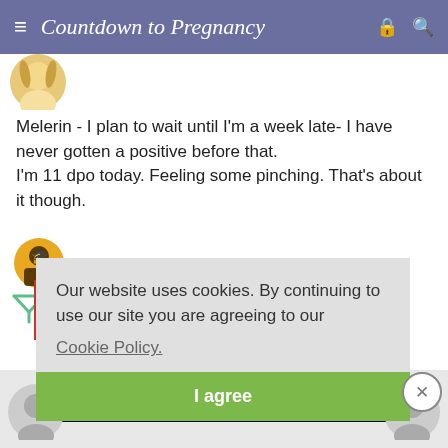≡  Countdown to Pregnancy  🔒  🔍
[Figure (illustration): Partial blonde female avatar icon at top left]
Melerin - I plan to wait until I'm a week late- I have never gotten a positive before that.
I'm 11 dpo today. Feeling some pinching. That's about it though.
[Figure (illustration): Orange graduation cap avatar icon]
Our website uses cookies. By continuing to use our site you are agreeing to our Cookie Policy.
I agree
[Figure (screenshot): Disney bundle advertisement showing Hulu, Disney+, ESPN+ logos with GET THE DISNEY BUNDLE call to action]
[Figure (illustration): Gray avatar icon bottom left]
[Figure (illustration): Gray avatar icon bottom right]